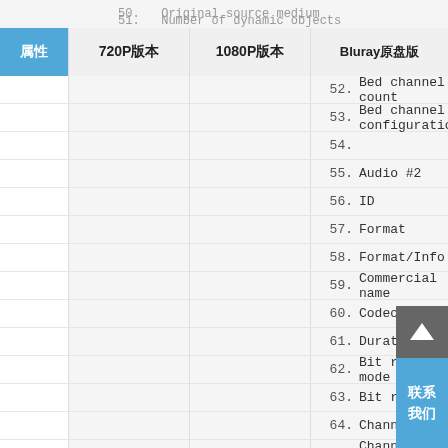| 属性 | 720P版本 | 1080P版本 | Bluray原盘版 | 3D版本对比 |
| --- | --- | --- | --- | --- |
|  |  |  | 50. Original source medium |  |
|  |  |  | 51. Number of dynamic objects |  |
|  |  |  | 52. Bed channel count |  |
|  |  |  | 53. Bed channel configuration |  |
|  |  |  | 54. |  |
|  |  |  | 55. Audio #2 |  |
|  |  |  | 56. ID |  |
|  |  |  | 57. Format |  |
|  |  |  | 58. Format/Info |  |
|  |  |  | 59. Commercial name |  |
|  |  |  | 60. Codec ID |  |
|  |  |  | 61. Duration |  |
|  |  |  | 62. Bit rate mode |  |
|  |  |  | 63. Bit rate |  |
|  |  |  | 64. Channel(s) |  |
|  |  |  | 65. Channel layout |  |
|  |  |  | 66. Sampling rate |  |
|  |  |  | 67. Frame rate |  |
|  |  |  | 68. Bit depth |  |
|  |  |  | 69. Compression mode |  |
|  |  |  | 70. Stream size |  |